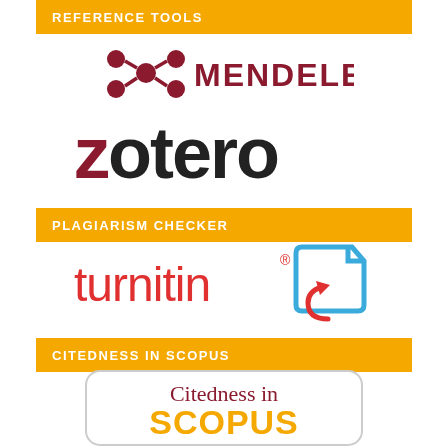REFERENCE TOOLS
[Figure (logo): Mendeley logo with red molecule icon and red text MENDELEY]
[Figure (logo): Zotero logo with red z and black otero text]
PLAGIARISM CHECKER
[Figure (logo): Turnitin logo with red turnitin text and blue document icon]
CITEDNESS IN SCOPUS
[Figure (logo): Citedness in Scopus logo with rounded rectangle border, red and orange text]